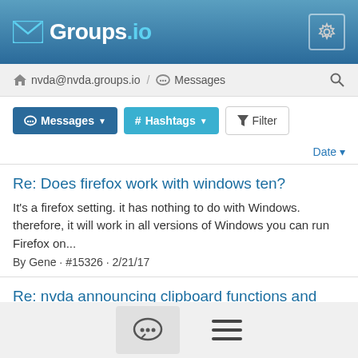Groups.io
nvda@nvda.groups.io / Messages
Messages  # Hashtags  Filter
Date
Re: Does firefox work with windows ten?
It's a firefox setting. it has nothing to do with Windows. therefore, it will work in all versions of Windows you can run Firefox on...
By Gene · #15326 · 2/21/17
Re: nvda announcing clipboard functions and other keystrokes
From what I've been told, Window Eyes also waits for the action,